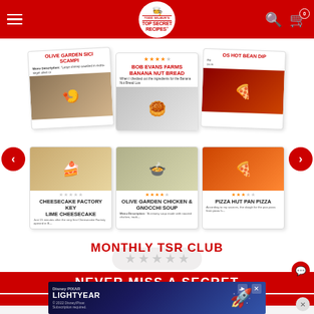Todd Wilbur's Top Secret Recipes
[Figure (screenshot): Recipe card carousel showing: Olive Garden Sicilian Scampi, Bob Evans Farms Banana Nut Bread, Fritos Hot Bean Dip (partial), Cheesecake Factory Key Lime Cheesecake, Olive Garden Chicken & Gnocchi Soup, Pizza Hut Pan Pizza]
MONTHLY TSR CLUB
NEVER MISS A SECRET
Subscribe ... the
[Figure (photo): Disney Pixar Lightyear advertisement banner at the bottom of the page]